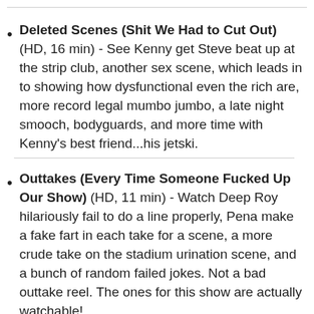Deleted Scenes (Shit We Had to Cut Out) (HD, 16 min) - See Kenny get Steve beat up at the strip club, another sex scene, which leads in to showing how dysfunctional even the rich are, more record legal mumbo jumbo, a late night smooch, bodyguards, and more time with Kenny's best friend...his jetski.
Outtakes (Every Time Someone Fucked Up Our Show) (HD, 11 min) - Watch Deep Roy hilariously fail to do a line properly, Pena make a fake fart in each take for a scene, a more crude take on the stadium urination scene, and a bunch of random failed jokes. Not a bad outtake reel. The ones for this show are actually watchable!